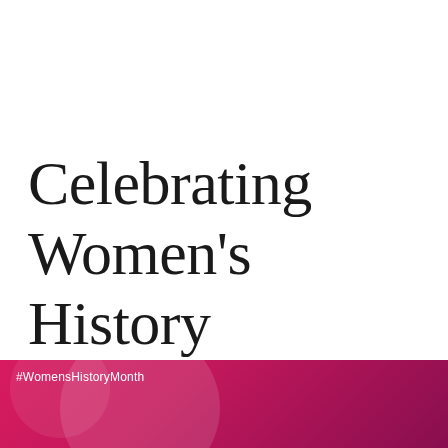Celebrating Women's History Through Stories
[Figure (illustration): Magenta/pink gradient banner at the bottom with decorative translucent circles and white hashtag text #WomensHistoryMonth]